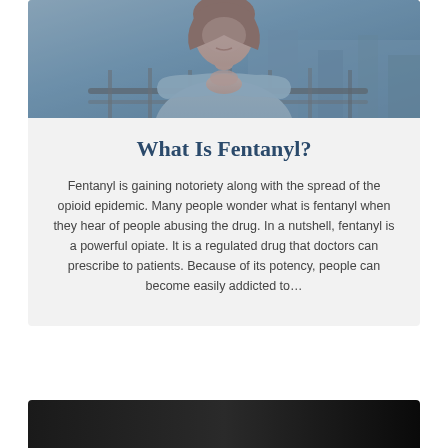[Figure (photo): A young woman leaning on a railing with her hands clasped under her chin, looking downward with a somber expression. Blue-toned photograph suggesting depression or distress.]
What Is Fentanyl?
Fentanyl is gaining notoriety along with the spread of the opioid epidemic. Many people wonder what is fentanyl when they hear of people abusing the drug. In a nutshell, fentanyl is a powerful opiate. It is a regulated drug that doctors can prescribe to patients. Because of its potency, people can become easily addicted to…
[Figure (photo): Bottom of page shows the top edge of a dark/black image card, partially visible.]